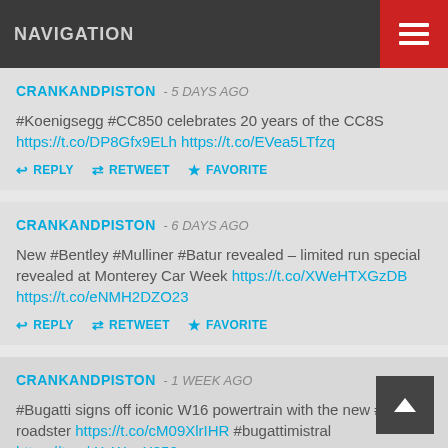NAVIGATION
CRANKANDPISTON - 5 DAYS AGO
#Koenigsegg #CC850 celebrates 20 years of the CC8S
https://t.co/DP8Gfx9ELh https://t.co/EVea5LTfzq
REPLY  RETWEET  FAVORITE
CRANKANDPISTON - 6 DAYS AGO
New #Bentley #Mulliner #Batur revealed – limited run special revealed at Monterey Car Week https://t.co/XWeHTXGzDB https://t.co/eNMH2DZO23
REPLY  RETWEET  FAVORITE
CRANKANDPISTON - 1 WEEK AGO
#Bugatti signs off iconic W16 powertrain with the new #Mis roadster https://t.co/cM09XlrIHR #bugattimistral https://t.co/rXxWquX350